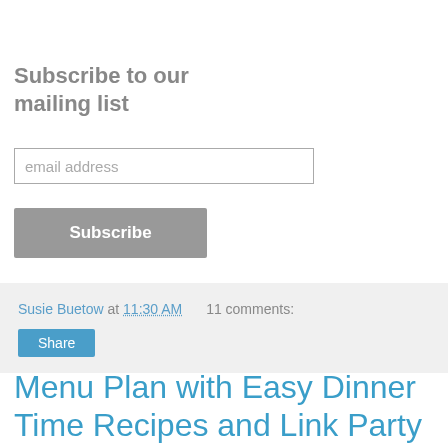Subscribe to our mailing list
email address
Subscribe
Susie Buetow at 11:30 AM   11 comments:
Share
Menu Plan with Easy Dinner Time Recipes and Link Party